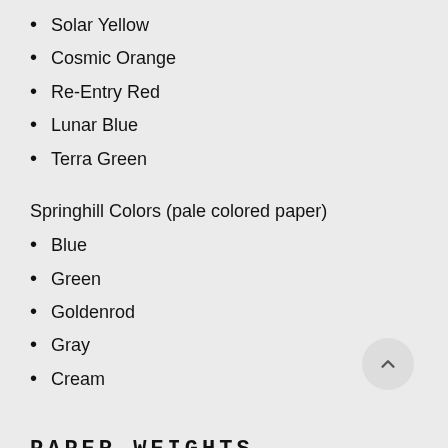Solar Yellow
Cosmic Orange
Re-Entry Red
Lunar Blue
Terra Green
Springhill Colors (pale colored paper)
Blue
Green
Goldenrod
Gray
Cream
PAPER WEIGHTS
Text (thin, flexible paper; thickness of standard letterhead)
Cover (thick, durable cardstock; thickness